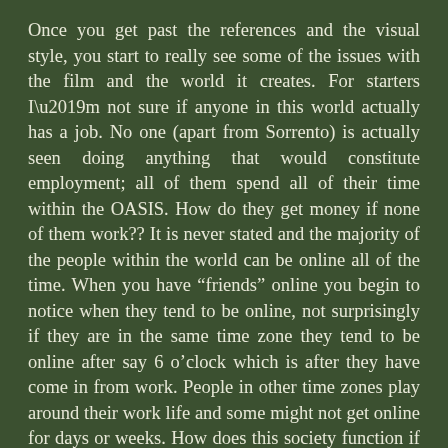Once you get past the references and the visual style, you start to really see some of the issues with the film and the world it creates. For starters I'm not sure if anyone in this world actually has a job. No one (apart from Sorrento) is actually seen doing anything that would constitute employment; all of them spend all of their time within the OASIS. How do they get money if none of them work?? It is never stated and the majority of the people within the world can be online all of the time. When you have “friends” online you begin to notice when they tend to be online, not surprisingly if they are in the same time zone they tend to be online after say 6 o’clock which is after they have come in from work. People in other time zones play around their work life and some might not get online for days or weeks. How does this society function if everyone spends all day every day within the OASIS would working or contributing anything to their society??
The interface is an extension of the human tech of today and